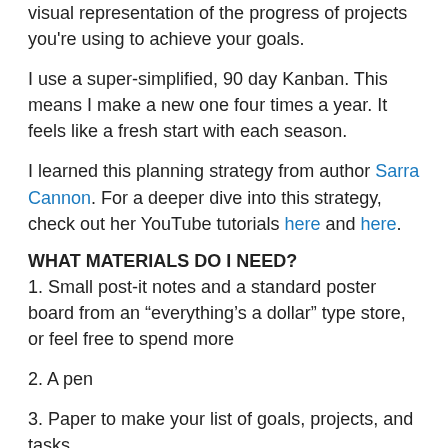visual representation of the progress of projects you're using to achieve your goals.
I use a super-simplified, 90 day Kanban. This means I make a new one four times a year. It feels like a fresh start with each season.
I learned this planning strategy from author Sarra Cannon. For a deeper dive into this strategy, check out her YouTube tutorials here and here.
WHAT MATERIALS DO I NEED?
1. Small post-it notes and a standard poster board from an “everything’s a dollar” type store, or feel free to spend more
2. A pen
3. Paper to make your list of goals, projects, and tasks